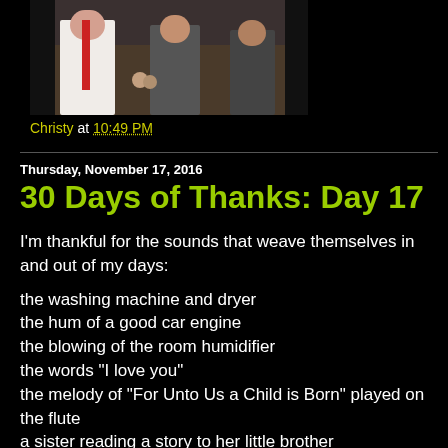[Figure (photo): A photo showing people, one wearing a white robe/clergy garment and others in suits, appears to be in an indoor setting]
Christy at 10:49 PM
Thursday, November 17, 2016
30 Days of Thanks: Day 17
I'm thankful for the sounds that weave themselves in and out of my days:
the washing machine and dryer
the hum of a good car engine
the blowing of the room humidifier
the words "I love you"
the melody of "For Unto Us a Child is Born" played on the flute
a sister reading a story to her little brother